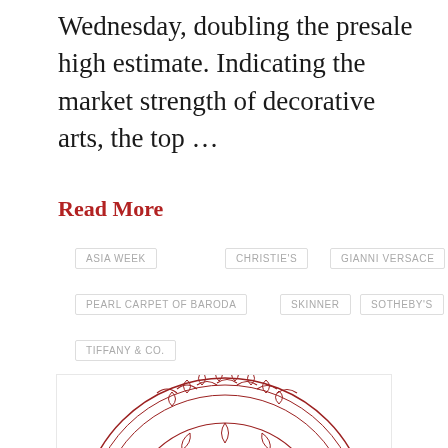Wednesday, doubling the presale high estimate. Indicating the market strength of decorative arts, the top …
Read More
ASIA WEEK
CHRISTIE'S
GIANNI VERSACE
PEARL CARPET OF BARODA
SKINNER
SOTHEBY'S
TIFFANY & CO.
[Figure (illustration): Red line art illustration of a decorative circular plate or medallion featuring figures in the center, with ornate border patterns of repeating motifs around the rim.]